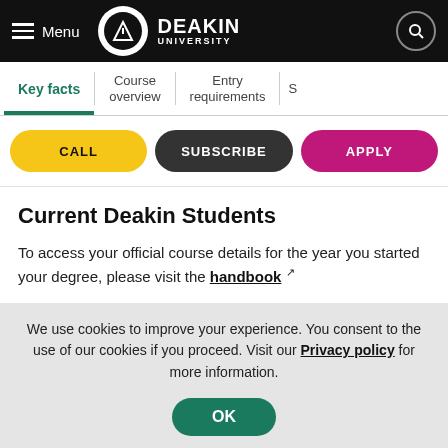Menu | Deakin University
Key facts | Course overview | Entry requirements
CALL | SUBSCRIBE | APPLY
Current Deakin Students
To access your official course details for the year you started your degree, please visit the handbook
We use cookies to improve your experience. You consent to the use of our cookies if you proceed. Visit our Privacy policy for more information.